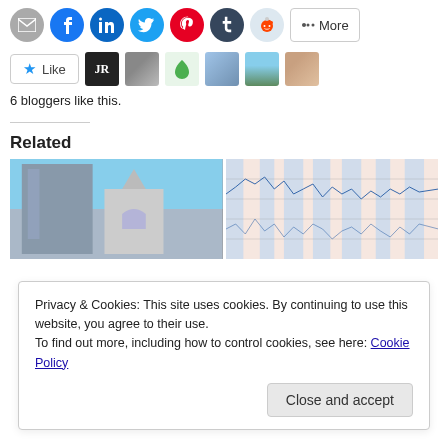[Figure (other): Row of social sharing icon buttons: email (grey), Facebook (blue), LinkedIn (blue), Twitter (light blue), Pinterest (red), Tumblr (dark blue), Reddit (light blue), and a More button]
[Figure (other): Like button with star icon, followed by 6 user avatar thumbnails]
6 bloggers like this.
Related
[Figure (photo): Related post image showing tall city building and church architecture]
[Figure (continuous-plot): Related post image showing a chart/graph with pink and blue areas, lines, and gridlines]
Privacy & Cookies: This site uses cookies. By continuing to use this website, you agree to their use.
To find out more, including how to control cookies, see here: Cookie Policy
Close and accept